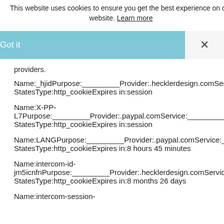This website uses cookies to ensure you get the best experience on our website. Learn more
Got it
hese are cookies that have not yet been categorized. We are in the process of classifying these cookies with the help of their providers.
providers.
Name:_hjidPurpose:_________Provider:.hecklerdesign.comService:___ StatesType:http_cookieExpires in:session
Name:X-PP-L7Purpose:_________Provider:.paypal.comService:_________Country: StatesType:http_cookieExpires in:session
Name:LANGPurpose:_________Provider:.paypal.comService:_________ StatesType:http_cookieExpires in:8 hours 45 minutes
Name:intercom-id-jm5icnfnPurpose:_________Provider:.hecklerdesign.comService:_____ StatesType:http_cookieExpires in:8 months 26 days
Name:intercom-session-